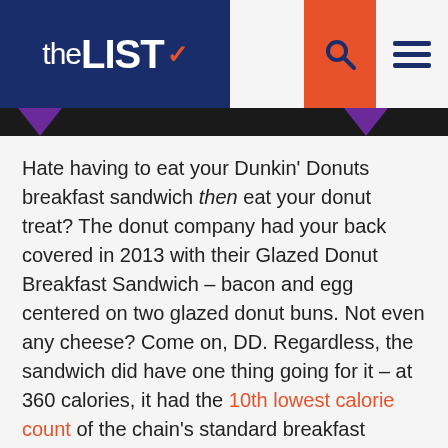theLIST
Hate having to eat your Dunkin' Donuts breakfast sandwich then eat your donut treat? The donut company had your back covered in 2013 with their Glazed Donut Breakfast Sandwich – bacon and egg centered on two glazed donut buns. Not even any cheese? Come on, DD. Regardless, the sandwich did have one thing going for it – at 360 calories, it had the 10th lowest calorie count of the chain's standard breakfast sandwiches. Why bother with a healthy ham, egg, and cheese on an English Muffin when you can just sacrifice 40 more calories for donut buns?